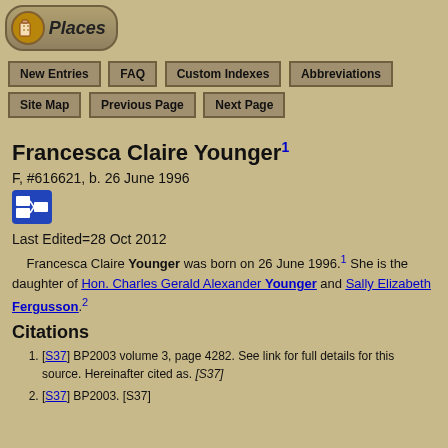Places
New Entries | FAQ | Custom Indexes | Abbreviations | Site Map | Previous Page | Next Page
Francesca Claire Younger1
F, #616621, b. 26 June 1996
Last Edited=28 Oct 2012
Francesca Claire Younger was born on 26 June 1996.1 She is the daughter of Hon. Charles Gerald Alexander Younger and Sally Elizabeth Fergusson.2
Citations
[S37] BP2003 volume 3, page 4282. See link for full details for this source. Hereinafter cited as. [S37]
[S37] BP2003. [S37]